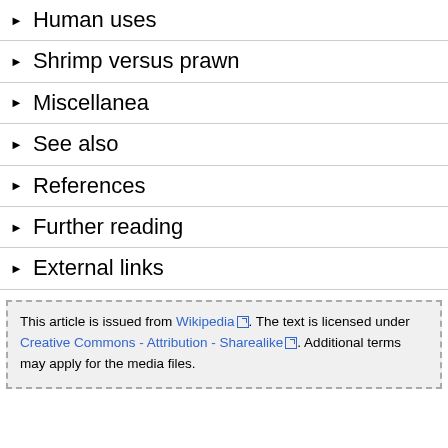► Human uses
► Shrimp versus prawn
► Miscellanea
► See also
► References
► Further reading
► External links
This article is issued from Wikipedia. The text is licensed under Creative Commons - Attribution - Sharealike. Additional terms may apply for the media files.